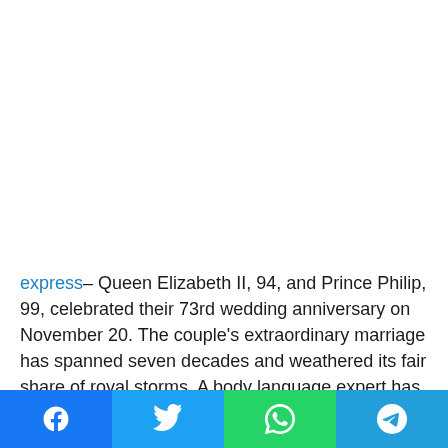express– Queen Elizabeth II, 94, and Prince Philip, 99, celebrated their 73rd wedding anniversary on November 20. The couple's extraordinary marriage has spanned seven decades and weathered its fair share of royal storms. A body language expert has analysed pictures of the royal couple over the years and praised their steady relationship for surviving the "potentially huge wrecking ball of status change when
[Figure (other): Social sharing bar with Facebook, Twitter, WhatsApp, and Telegram buttons]